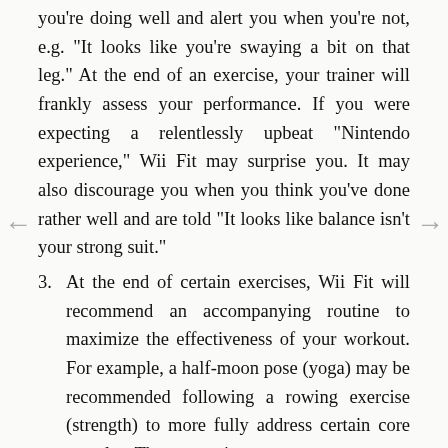you're doing well and alert you when you're not, e.g. "It looks like you're swaying a bit on that leg." At the end of an exercise, your trainer will frankly assess your performance. If you were expecting a relentlessly upbeat "Nintendo experience," Wii Fit may surprise you. It may also discourage you when you think you've done rather well and are told "It looks like balance isn't your strong suit."
3. At the end of certain exercises, Wii Fit will recommend an accompanying routine to maximize the effectiveness of your workout. For example, a half-moon pose (yoga) may be recommended following a rowing exercise (strength) to more fully address certain core muscles. The system is